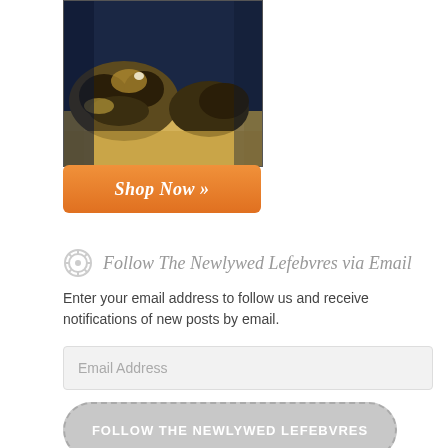[Figure (photo): Advertisement image showing a beach/sand and rock scene with dark blue sky background, with an orange 'Shop Now »' button at the bottom]
Follow The Newlywed Lefebvres via Email
Enter your email address to follow us and receive notifications of new posts by email.
Email Address
FOLLOW THE NEWLYWED LEFEBVRES